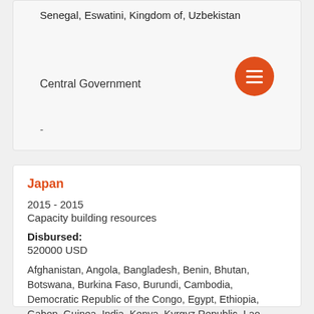Senegal, Eswatini, Kingdom of, Uzbekistan
Central Government
-
Japan
2015 - 2015
Capacity building resources
Disbursed: 520000 USD
Afghanistan, Angola, Bangladesh, Benin, Bhutan, Botswana, Burkina Faso, Burundi, Cambodia, Democratic Republic of the Congo, Egypt, Ethiopia, Gabon, Guinea, India, Kenya, Kyrgyz Republic, Lao People's Democratic Republic, Liberia,